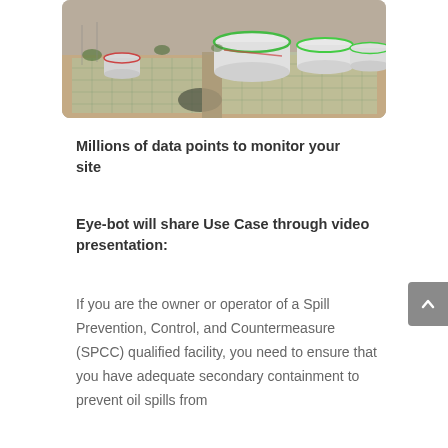[Figure (photo): Aerial view of an industrial facility with several large white cylindrical storage tanks with green-trimmed tops, surrounded by containment areas with grid-like patterns on the ground.]
Millions of data points to monitor your site
Eye-bot will share Use Case through video presentation:
If you are the owner or operator of a Spill Prevention, Control, and Countermeasure (SPCC) qualified facility, you need to ensure that you have adequate secondary containment to prevent oil spills from